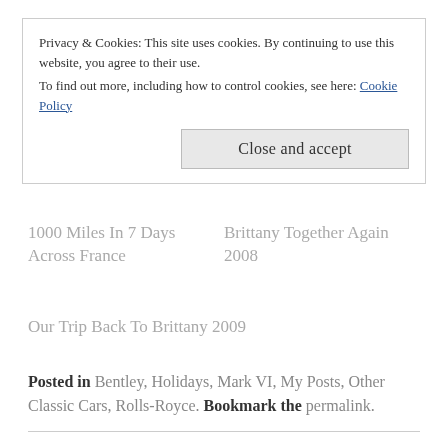Privacy & Cookies: This site uses cookies. By continuing to use this website, you agree to their use.
To find out more, including how to control cookies, see here: Cookie Policy
Close and accept
1000 Miles In 7 Days Across France
Brittany Together Again 2008
Our Trip Back To Brittany 2009
Posted in Bentley, Holidays, Mark VI, My Posts, Other Classic Cars, Rolls-Royce. Bookmark the permalink.